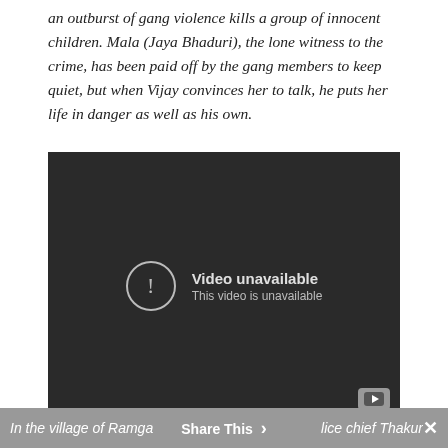an outburst of gang violence kills a group of innocent children. Mala (Jaya Bhaduri), the lone witness to the crime, has been paid off by the gang members to keep quiet, but when Vijay convinces her to talk, he puts her life in danger as well as his own.
[Figure (screenshot): Embedded video player showing 'Video unavailable — This video is unavailable' message on a dark background with YouTube logo in bottom right corner.]
In the village of Ramga... [police chief Thakur